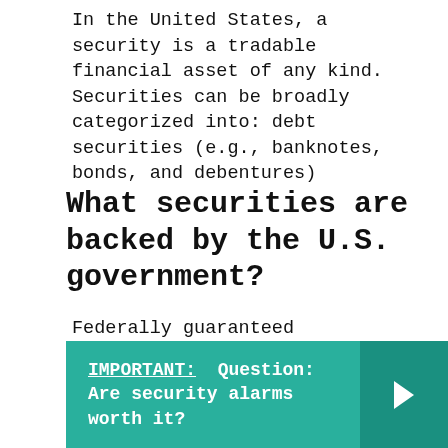In the United States, a security is a tradable financial asset of any kind. Securities can be broadly categorized into: debt securities (e.g., banknotes, bonds, and debentures)
What securities are backed by the U.S. government?
Federally guaranteed obligations take several forms, but the best-known are U.S. Treasury bonds, Treasury notes, and Treasury bills (T-bills).
IMPORTANT: Question: Are security alarms worth it?